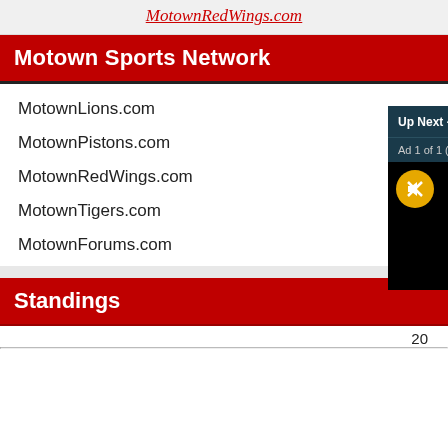MotownRedWings.com
Motown Sports Network
MotownLions.com
MotownPistons.com
MotownRedWings.com
MotownTigers.com
MotownForums.com
Standings
20
[Figure (screenshot): Video popup overlay: 'Up Next - Torey Lovullo on win over Bre...' with close button, Ad 1 of 1 (0:30), Learn More button, mute button on black video background]